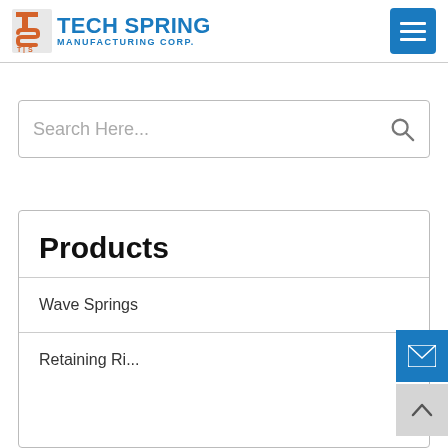[Figure (logo): Tech Spring Manufacturing Corp. logo with orange TS icon and blue text]
[Figure (other): Hamburger menu button (blue square with three white lines)]
Search Here...
Products
Wave Springs
Retaining Rings (partially visible)